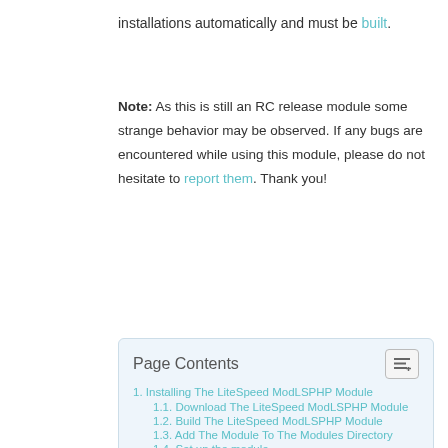installations automatically and must be built.
Note: As this is still an RC release module some strange behavior may be observed. If any bugs are encountered while using this module, please do not hesitate to report them. Thank you!
1. Installing The LiteSpeed ModLSPHP Module
1.1. Download The LiteSpeed ModLSPHP Module
1.2. Build The LiteSpeed ModLSPHP Module
1.3. Add The Module To The Modules Directory
1.4. Set up the module
1.4.1. Editing An Existing Script Handler
1.4.2. Adding A New Script Handler
Installing The LiteSpeed